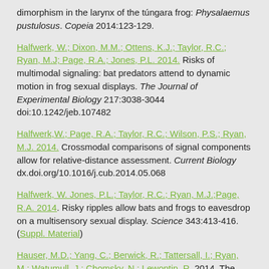dimorphism in the larynx of the túngara frog: Physalaemus pustulosus. Copeia 2014:123-129.
Halfwerk, W.; Dixon, M.M.; Ottens, K.J.; Taylor, R.C.; Ryan, M.J; Page, R.A.; Jones, P.L. 2014. Risks of multimodal signaling: bat predators attend to dynamic motion in frog sexual displays. The Journal of Experimental Biology 217:3038-3044  doi:10.1242/jeb.107482
Halfwerk,W.; Page, R.A.; Taylor, R.C.; Wilson, P.S.; Ryan, M.J. 2014. Crossmodal comparisons of signal components allow for relative-distance assessment. Current Biology dx.doi.org/10.1016/j.cub.2014.05.068
Halfwerk, W. Jones, P.L.; Taylor, R.C.; Ryan, M.J.;Page, R.A. 2014. Risky ripples allow bats and frogs to eavesdrop on a multisensory sexual display. Science 343:413-416. (Suppl. Material)
Hauser, M.D.; Yang, C.; Berwick, R.; Tattersall, I.; Ryan, M.; Watumull, J.; Chomsky, N.; Lewontin, R. 2014. The mystery of language evolution. Frontiers in Psychology 5, Article 401, doi: 10.3389/fpsyg.2014.00401